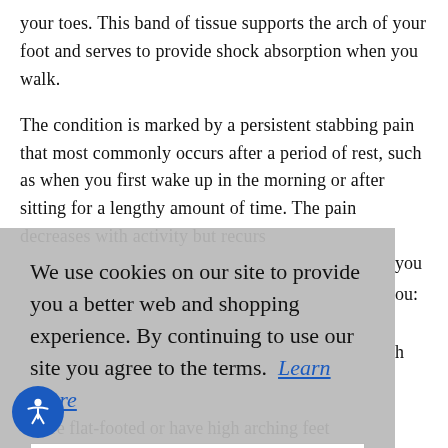your toes. This band of tissue supports the arch of your foot and serves to provide shock absorption when you walk.
The condition is marked by a persistent stabbing pain that most commonly occurs after a period of rest, such as when you first wake up in the morning or after sitting for a lengthy amount of time. The pain decreases with activity but recurs again after rest.
[Figure (screenshot): Cookie consent overlay with text: 'We use cookies on our site to provide you a better web and shopping experience. By continuing to use our site you agree to the terms. Learn More' and an 'I AGREE' button.]
Are flat-footed or have high arching feet